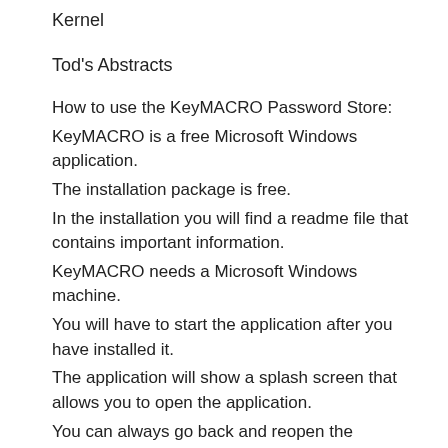Kernel
Tod's Abstracts
How to use the KeyMACRO Password Store:
KeyMACRO is a free Microsoft Windows application.
The installation package is free.
In the installation you will find a readme file that contains important information.
KeyMACRO needs a Microsoft Windows machine.
You will have to start the application after you have installed it.
The application will show a splash screen that allows you to open the application.
You can always go back and reopen the application.
The first thing you have to do is to select a password.
When you select a password, the application will generate a